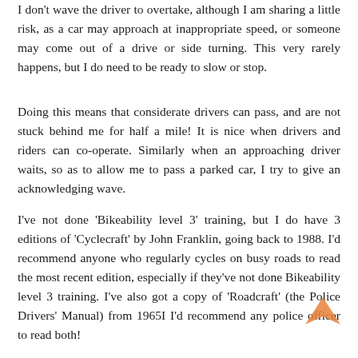I don't wave the driver to overtake, although I am sharing a little risk, as a car may approach at inappropriate speed, or someone may come out of a drive or side turning. This very rarely happens, but I do need to be ready to slow or stop.
Doing this means that considerate drivers can pass, and are not stuck behind me for half a mile! It is nice when drivers and riders can co-operate. Similarly when an approaching driver waits, so as to allow me to pass a parked car, I try to give an acknowledging wave.
I've not done 'Bikeability level 3' training, but I do have 3 editions of 'Cyclecraft' by John Franklin, going back to 1988. I'd recommend anyone who regularly cycles on busy roads to read the most recent edition, especially if they've not done Bikeability level 3 training. I've also got a copy of 'Roadcraft' (the Police Drivers' Manual) from 1965I I'd recommend any police officer to read both!